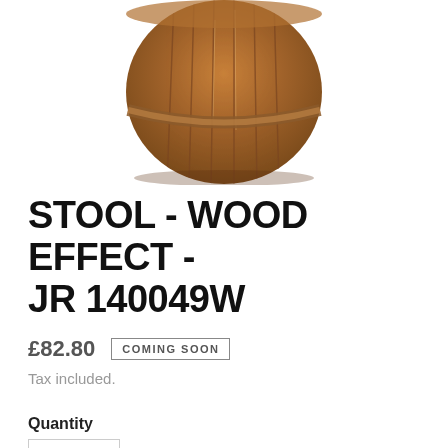[Figure (photo): A wooden barrel-style stool viewed from above-front angle, showing wooden slats and metal hoops, rustic brown color, white background.]
STOOL - WOOD EFFECT - JR 140049W
£82.80  COMING SOON
Tax included.
Quantity
1